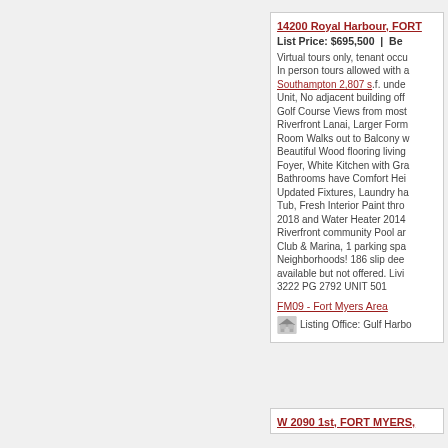14200 Royal Harbour, FORT MYERS, ...
List Price: $695,500  |  Be...
Virtual tours only, tenant occu... In person tours allowed with a... Southampton 2,807 s.f. unde... Unit, No adjacent building off... Golf Course Views from most... Riverfront Lanai, Larger Form... Room Walks out to Balcony w... Beautiful Wood flooring living... Foyer, White Kitchen with Gra... Bathrooms have Comfort Hei... Updated Fixtures, Laundry ha... Tub, Fresh Interior Paint thro... 2018 and Water Heater 2014... Riverfront community Pool ar... Club & Marina, 1 parking spa... Neighborhoods! 186 slip deep... available but not offered. Livi... 3222 PG 2792 UNIT 501
FM09 - Fort Myers Area
Listing Office: Gulf Harbo...
W 2090 1st, FORT MYERS, ...